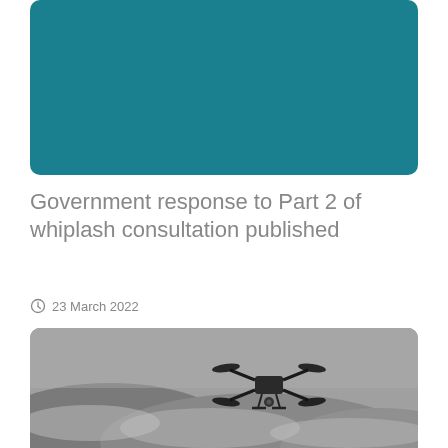[Figure (illustration): Solid teal/dark cyan rounded rectangle banner image at top of page]
Government response to Part 2 of whiplash consultation published
23 March 2022
[Figure (photo): Black and white photograph of a quadcopter drone flying against a blurred mountainous landscape background]